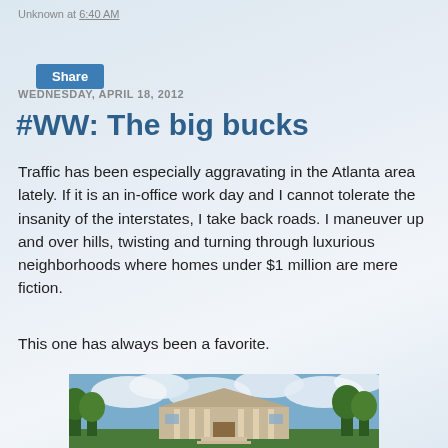Unknown at 6:40 AM
Share
WEDNESDAY, APRIL 18, 2012
#WW: The big bucks
Traffic has been especially aggravating in the Atlanta area lately. If it is an in-office work day and I cannot tolerate the insanity of the interstates, I take back roads. I maneuver up and over hills, twisting and turning through luxurious neighborhoods where homes under $1 million are mere fiction.
This one has always been a favorite.
[Figure (photo): Photograph of a large luxurious mansion with columns at the entrance, surrounded by trees under a partly cloudy sky with blue tones.]